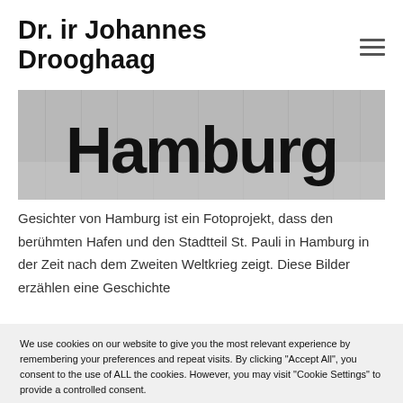Dr. ir Johannes Drooghaag
[Figure (photo): Partial view of Hamburg photo project banner showing the word 'Hamburg' in large bold text over a grey urban background]
Gesichter von Hamburg ist ein Fotoprojekt, dass den berühmten Hafen und den Stadtteil St. Pauli in Hamburg in der Zeit nach dem Zweiten Weltkrieg zeigt. Diese Bilder erzählen eine Geschichte
We use cookies on our website to give you the most relevant experience by remembering your preferences and repeat visits. By clicking "Accept All", you consent to the use of ALL the cookies. However, you may visit "Cookie Settings" to provide a controlled consent.